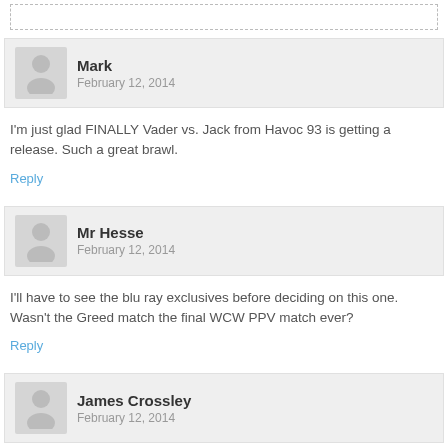Mark
February 12, 2014
I'm just glad FINALLY Vader vs. Jack from Havoc 93 is getting a release. Such a great brawl.
Reply
Mr Hesse
February 12, 2014
I'll have to see the blu ray exclusives before deciding on this one. Wasn't the Greed match the final WCW PPV match ever?
Reply
James Crossley
February 12, 2014
If not for the WWE Network this would have excited me!